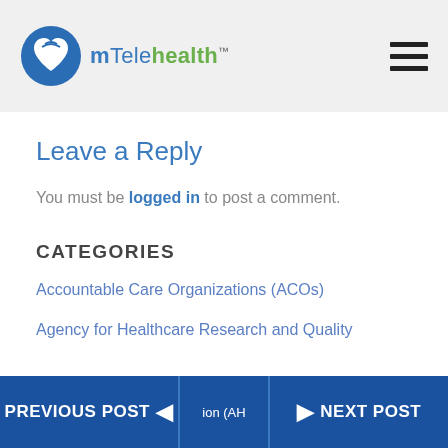mTelehealth logo and navigation menu
Leave a Reply
You must be logged in to post a comment.
CATEGORIES
Accountable Care Organizations (ACOs)
Agency for Healthcare Research and Quality
PREVIOUS POST | ion (AH | NEXT POST